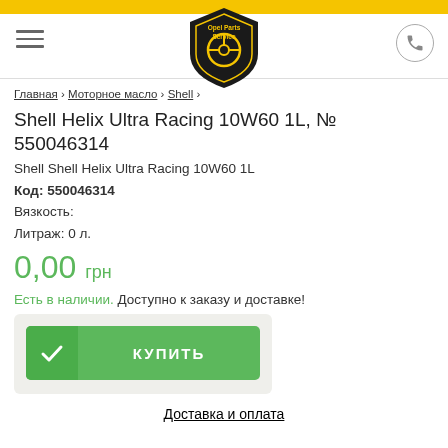Opel Parts Service
Главная › Моторное масло › Shell ›
Shell Helix Ultra Racing 10W60 1L, № 550046314
Shell Shell Helix Ultra Racing 10W60 1L
Код: 550046314
Вязкость:
Литраж: 0 л.
0,00 грн
Есть в наличии. Доступно к заказу и доставке!
КУПИТЬ
Доставка и оплата